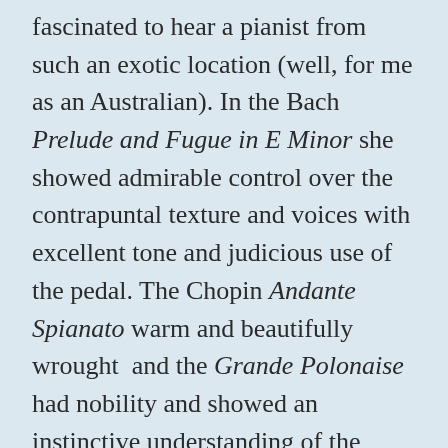fascinated to hear a pianist from such an exotic location (well, for me as an Australian). In the Bach Prelude and Fugue in E Minor she showed admirable control over the contrapuntal texture and voices with excellent tone and judicious use of the pedal. The Chopin Andante Spianato warm and beautifully wrought  and the Grande Polonaise had nobility and showed an instinctive understanding of the complex nature of this composer. The ‘call to the floor’ for the Polonaise was well brought off as an imperative summons. Perhaps it did not glitter as it can with greater virtuosi but in this performance I felt that to be irrelevant. The nature of the Debussy Etude